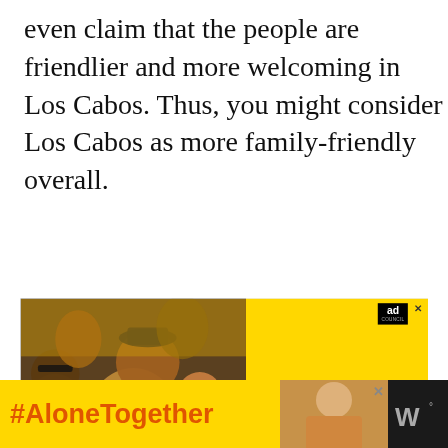even claim that the people are friendlier and more welcoming in Los Cabos. Thus, you might consider Los Cabos as more family-friendly overall.
[Figure (photo): Advertisement for COVID-19 vaccination: Ad Council banner. Left half shows photo of laughing friends outdoors in yellow/warm tones. Text reads 'Getting back to going out starts with getting informed.' Right half is bright yellow with 'IT'S UP TO YOU - COVID-19 VACCINATION' badge and arrow circle. Bottom right: '> Get info at GetVaccineAnswers.org']
[Figure (photo): Bottom banner advertisement: dark background with yellow section on left showing '#AloneTogether' in orange text, and small photo of a woman on right side.]